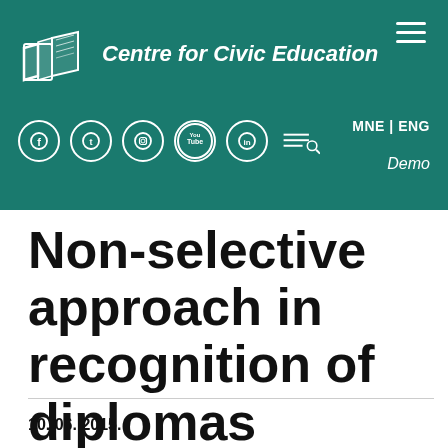Centre for Civic Education
Non-selective approach in recognition of diplomas
10. 06. 2015.